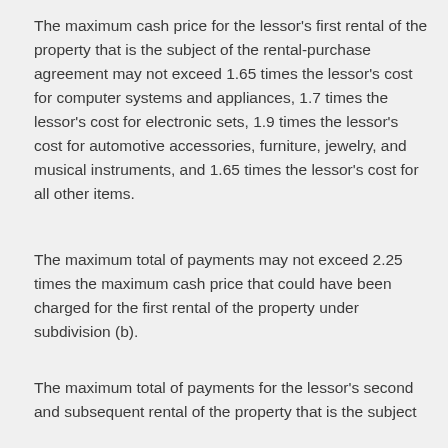The maximum cash price for the lessor's first rental of the property that is the subject of the rental-purchase agreement may not exceed 1.65 times the lessor's cost for computer systems and appliances, 1.7 times the lessor's cost for electronic sets, 1.9 times the lessor's cost for automotive accessories, furniture, jewelry, and musical instruments, and 1.65 times the lessor's cost for all other items.
The maximum total of payments may not exceed 2.25 times the maximum cash price that could have been charged for the first rental of the property under subdivision (b).
The maximum total of payments for the lessor's second and subsequent rental of the property that is the subject